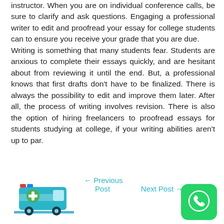instructor. When you are on individual conference calls, be sure to clarify and ask questions. Engaging a professional writer to edit and proofread your essay for college students can to ensure you receive your grade that you are due. Writing is something that many students fear. Students are anxious to complete their essays quickly, and are hesitant about from reviewing it until the end. But, a professional knows that first drafts don't have to be finalized. There is always the possibility to edit and improve them later. After all, the process of writing involves revision. There is also the option of hiring freelancers to proofread essays for students studying at college, if your writing abilities aren't up to par.
[Figure (illustration): Ambulance/medical van icon in blue with a green cross]
← Previous Post
Next Post →
[Figure (logo): WhatsApp icon — green rounded square with white phone handset]